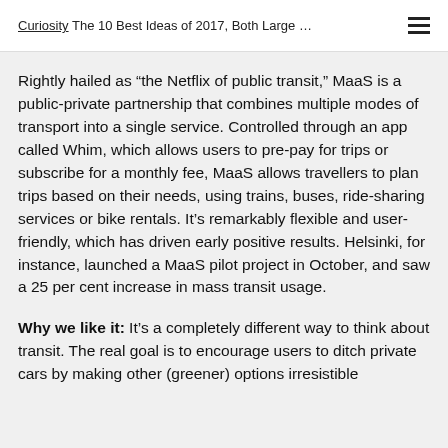Curiosity  The 10 Best Ideas of 2017, Both Large …
Rightly hailed as “the Netflix of public transit,” MaaS is a public-private partnership that combines multiple modes of transport into a single service. Controlled through an app called Whim, which allows users to pre-pay for trips or subscribe for a monthly fee, MaaS allows travellers to plan trips based on their needs, using trains, buses, ride-sharing services or bike rentals. It’s remarkably flexible and user-friendly, which has driven early positive results. Helsinki, for instance, launched a MaaS pilot project in October, and saw a 25 per cent increase in mass transit usage.
Why we like it: It’s a completely different way to think about transit. The real goal is to encourage users to ditch private cars by making other (greener) options irresistible